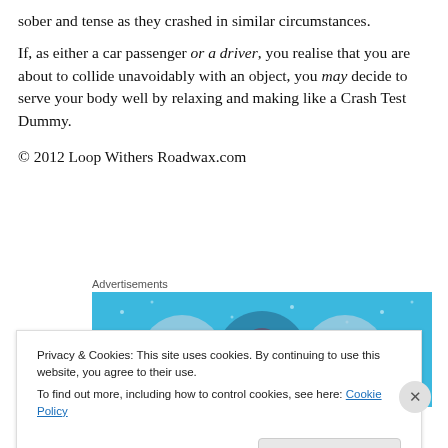sober and tense as they crashed in similar circumstances.
If, as either a car passenger or a driver, you realise that you are about to collide unavoidably with an object, you may decide to serve your body well by relaxing and making like a Crash Test Dummy.
© 2012 Loop Withers Roadwax.com
[Figure (other): Advertisements banner with blue background showing three circular icons with illustrated figures]
Privacy & Cookies: This site uses cookies. By continuing to use this website, you agree to their use. To find out more, including how to control cookies, see here: Cookie Policy